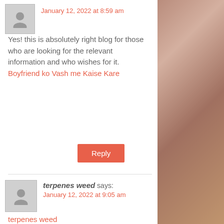January 12, 2022 at 8:59 am
Yes! this is absolutely right blog for those who are looking for the relevant information and who wishes for it. Boyfriend ko Vash me Kaise Kare
Reply
terpenes weed says:
January 12, 2022 at 9:05 am
terpenes weed
Your designs and ideas are really appreciated. Thanks for sharing!
Reply